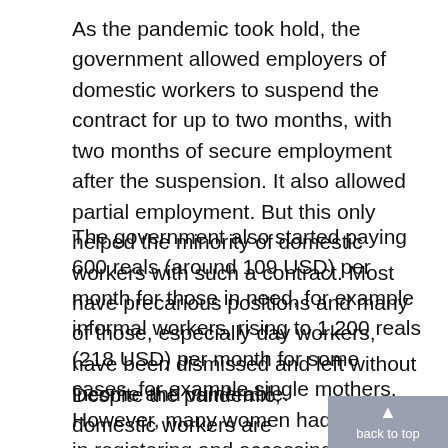As the pandemic took hold, the government allowed employers of domestic workers to suspend the contract for up to two months, with two months of secure employment after the suspension. It also allowed partial employment. But this only helped the minority of domestic workers with such a contract. Most have precarious positions and many of those, especially day workers, have been dismissed and left without income and vulnerable.
The government also started paying 600 reals (around 109 USD) per month for those in need, for example informal workers, rising to 1,200 reals (218 USD) per month for some cases, for example single mothers. However, many women had difficulty in registering and accessing this aid.
Despite the pandemic, domestic workers are standing firm in the fight for labour rights. In March 2020